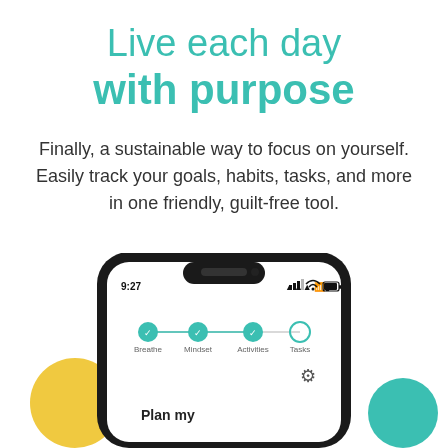Live each day with purpose
Finally, a sustainable way to focus on yourself. Easily track your goals, habits, tasks, and more in one friendly, guilt-free tool.
[Figure (screenshot): Smartphone mockup showing an app screen with navigation steps: Breathe, Mindset, Activities, Tasks. Status bar shows 9:27. A settings gear icon is visible. Bottom shows 'Plan my' text. Decorative yellow and teal circles appear behind the phone.]